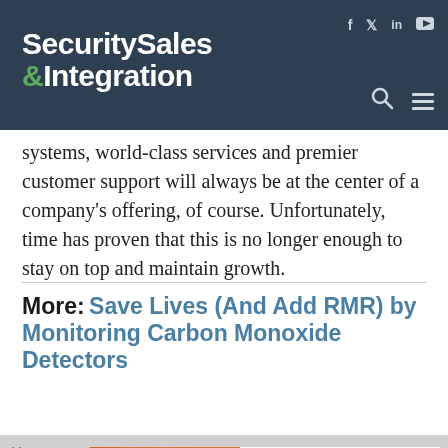Security Sales & Integration
systems, world-class services and premier customer support will always be at the center of a company's offering, of course. Unfortunately, time has proven that this is no longer enough to stay on top and maintain growth.
More: Save Lives (And Add RMR) by Monitoring Carbon Monoxide Detectors
[Figure (advertisement): FireLink XL 255 FACP advertisement. 255 Pt Addressable FACP with StarLink Cell/IP Built in. Now 2 FireLink FACPs: Conventional up to 32Pts & New XL 255 Addressable Pts. Shows firefighters on left and product on right.]